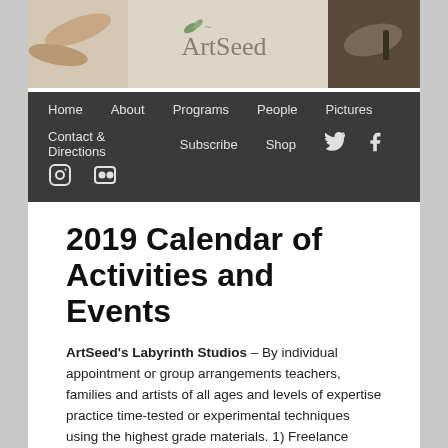[Figure (photo): Header photo showing hands drawing/writing with ArtSeed logo/text visible in center]
Home   About   Programs   People   Pictures   Contact & Directions   Subscribe   Shop   [Twitter] [Facebook] [Instagram] [Flickr]
2019 Calendar of Activities and Events
ArtSeed's Labyrinth Studios – By individual appointment or group arrangements teachers, families and artists of all ages and levels of expertise practice time-tested or experimental techniques using the highest grade materials. 1) Freelance space, equipment use, and exhibition opportunities for volunteers. 2) Training for